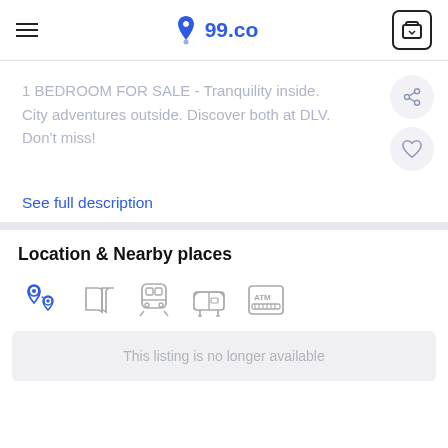99.co
1 BEDROOM FOR SALE - Tranquility inside. City adventures outside. Discover both at DLV. Don't miss!
See full description
Location & Nearby places
[Figure (infographic): Row of 5 nearby place category icons: map pin/location, book/school, train/MRT, mailbox, ATM]
This listing is no longer available